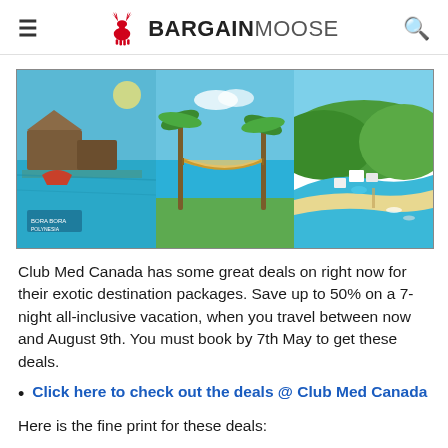BargainMoose
[Figure (photo): Three-panel banner of tropical resort destinations: overwater bungalows with turquoise water, hammock on a beach with clear blue sea, and aerial view of a coastal resort with green hills]
Club Med Canada has some great deals on right now for their exotic destination packages.  Save up to 50% on a 7-night all-inclusive vacation, when you travel between now and August 9th.  You must book by 7th May to get these deals.
Click here to check out the deals @ Club Med Canada
Here is the fine print for these deals: